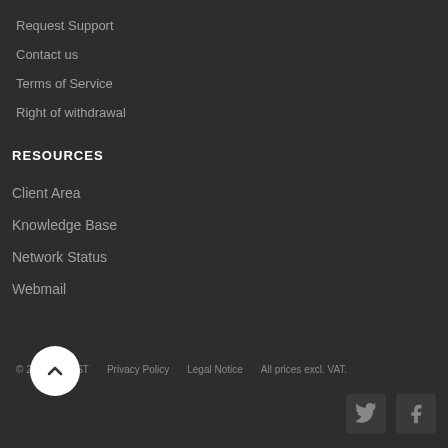Request Support
Contact us
Terms of Service
Right of withdrawal
RESOURCES
Client Area
Knowledge Base
Network Status
Webmail
© 2023 DIHOST   Privacy Policy   Legal Notice   All prices excl. VAT.